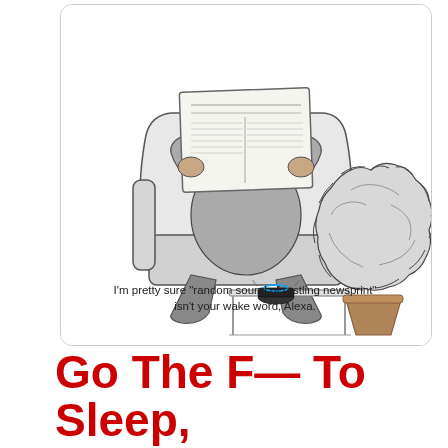[Figure (illustration): Line drawing cartoon of a person sitting in an armchair reading a newspaper, with an Amazon Echo (Alexa) device on a side table nearby and a potted round shrub in the background.]
I'm pretty sure "random sound of rustling newsprint" isn't your wake word, Alexa.
Go The F— To Sleep, Alexa
May 30, 2018